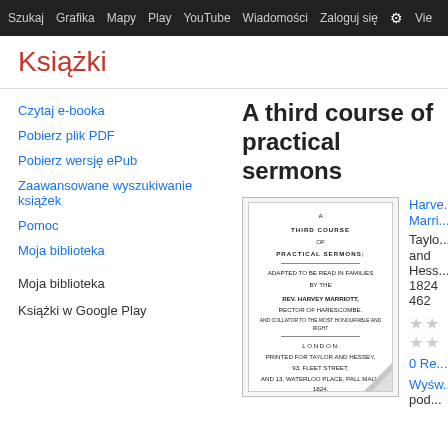Szukaj  Grafika  Mapy  Play  YouTube  Wiadomości  Zaloguj się  Vie...
Książki
Czytaj e-booka
Pobierz plik PDF
Pobierz wersję ePub
Zaawansowane wyszukiwanie książek
Pomoc
Moja biblioteka
Moja biblioteka
Książki w Google Play
A third course of practical sermons
[Figure (illustration): Book cover page scan: 'A THIRD COURSE OF PRACTICAL SERMONS, ADAPTED TO BE READ IN FAMILIES, BY THE REV. HARVEY MARRIOTT, RECTOR OF HARESCOMBE. AND COLLATOR TO THE MOST HONOURABLE AND RIGHT ... LONDON: PRINTED FOR TAYLOR AND HESSEY, 93, FLEET STREET, AND 13, WATERLOO PLACE, PALL MALL. 1824. 79']
Harvey Marriott
Taylor and Hessey, 1824
462
0 Recenzje
Wyświetl podgląd